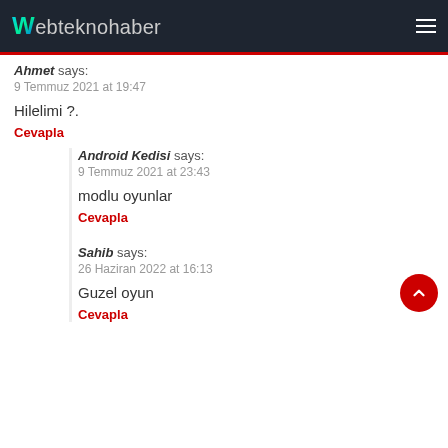webteknohaber
Ahmet says:
9 Temmuz 2021 at 19:47
Hilelimi ?.
Cevapla
Android Kedisi says:
9 Temmuz 2021 at 23:43
modlu oyunlar
Cevapla
Sahib says:
26 Haziran 2022 at 16:13
Guzel oyun
Cevapla